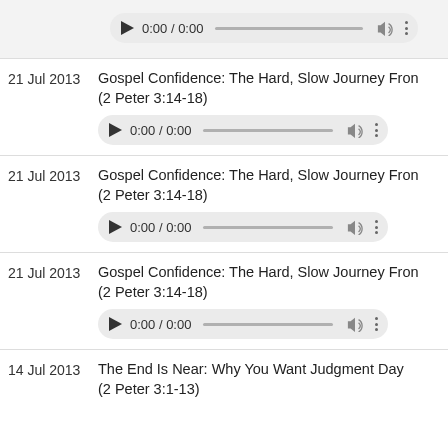[Figure (screenshot): Audio player control showing 0:00 / 0:00 with play button, progress bar, volume icon, and more options button on grey rounded background (partial row at top)]
21 Jul 2013	Gospel Confidence: The Hard, Slow Journey Fron (2 Peter 3:14-18)
[Figure (screenshot): Audio player showing 0:00 / 0:00]
21 Jul 2013	Gospel Confidence: The Hard, Slow Journey Fron (2 Peter 3:14-18)
[Figure (screenshot): Audio player showing 0:00 / 0:00]
21 Jul 2013	Gospel Confidence: The Hard, Slow Journey Fron (2 Peter 3:14-18)
[Figure (screenshot): Audio player showing 0:00 / 0:00]
14 Jul 2013	The End Is Near: Why You Want Judgment Day (2 Peter 3:1-13)